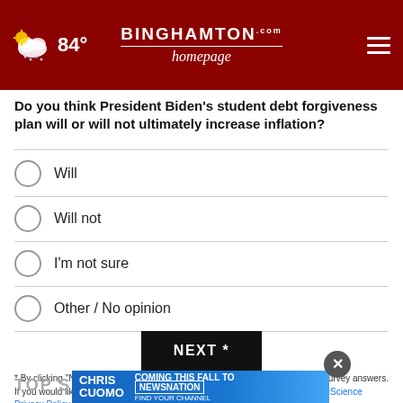Binghamton Homepage — 84°
Do you think President Biden's student debt forgiveness plan will or will not ultimately increase inflation?
Will
Will not
I'm not sure
Other / No opinion
NEXT *
* By clicking "NEXT" you agree to the following: We use cookies to track your survey answers. If you would like to continue with this survey, please read and agree to the CivicScience Privacy Policy and Terms of Service
TOP S
[Figure (infographic): Chris Cuomo Coming This Fall to NewsNation advertisement banner]